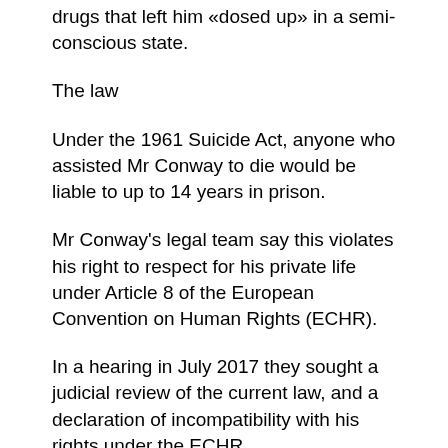drugs that left him «dosed up» in a semi-conscious state.
The law
Under the 1961 Suicide Act, anyone who assisted Mr Conway to die would be liable to up to 14 years in prison.
Mr Conway's legal team say this violates his right to respect for his private life under Article 8 of the European Convention on Human Rights (ECHR).
In a hearing in July 2017 they sought a judicial review of the current law, and a declaration of incompatibility with his rights under the ECHR.